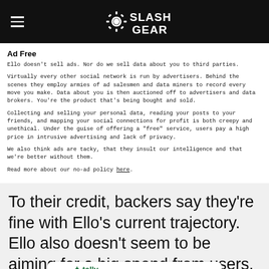SlashGear
Ad Free
Ello doesn't sell ads. Nor do we sell data about you to third parties.

Virtually every other social network is run by advertisers. Behind the scenes they employ armies of ad salesmen and data miners to record every move you make. Data about you is then auctioned off to advertisers and data brokers. You're the product that's being bought and sold.

Collecting and selling your personal data, reading your posts to your friends, and mapping your social connections for profit is both creepy and unethical. Under the guise of offering a "free" service, users pay a high price in intrusive advertising and lack of privacy.

We also think ads are tacky, that they insult our intelligence and that we're better without them.

Read more about our no-ad policy here.
To their credit, backers say they're fine with Ello's current trajectory. Ello also doesn't seem to be aiming for a big spend from users. Things like managing multiple accoun[ts is] not a lot, b[ut]